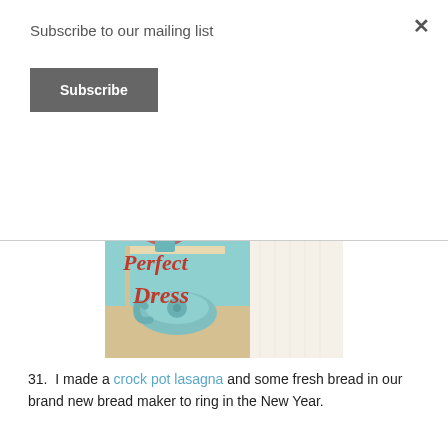Subscribe to our mailing list
Subscribe
[Figure (illustration): Book cover for 'The Perfect Dress' by Carolyn Brown. Features a teal/mint background with a white wedding dress hanging on the right side, a shelf with a vase of pink flowers on the left, and a vintage teal rotary telephone on the counter below. Title text 'the Perfect Dress' is in large dark red/crimson script. Author name 'CAROLYN BROWN' is in white serif font at the top.]
31.  I made a crock pot lasagna and some fresh bread in our brand new bread maker to ring in the New Year.